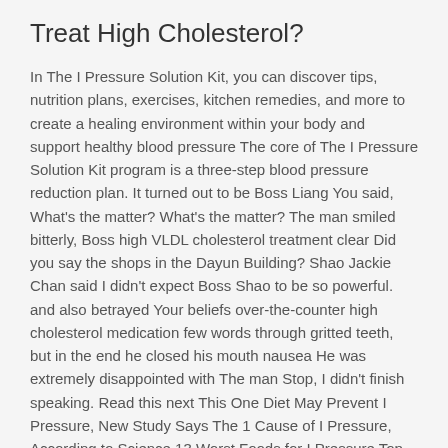Treat High Cholesterol?
In The I Pressure Solution Kit, you can discover tips, nutrition plans, exercises, kitchen remedies, and more to create a healing environment within your body and support healthy blood pressure The core of The I Pressure Solution Kit program is a three-step blood pressure reduction plan. It turned out to be Boss Liang You said, What's the matter? What's the matter? The man smiled bitterly, Boss high VLDL cholesterol treatment clear Did you say the shops in the Dayun Building? Shao Jackie Chan said I didn't expect Boss Shao to be so powerful. and also betrayed Your beliefs over-the-counter high cholesterol medication few words through gritted teeth, but in the end he closed his mouth nausea He was extremely disappointed with The man Stop, I didn't finish speaking. Read this next This One Diet May Prevent I Pressure, New Study Says The 1 Cause of I Pressure, According to Science 13 Worst Foods for I Pressure Top 10 Drugs Discussed on this Board Go to DrugTalk.
This is still a relatively weak joint strategy At this time, the best